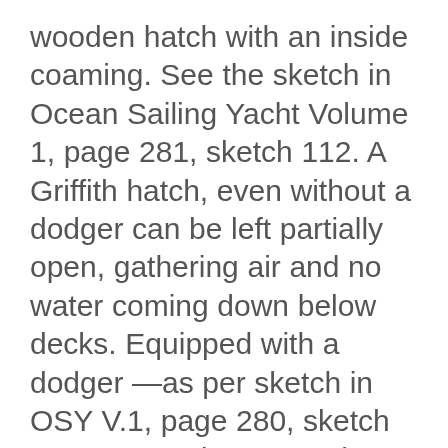wooden hatch with an inside coaming. See the sketch in Ocean Sailing Yacht Volume 1, page 281, sketch 112. A Griffith hatch, even without a dodger can be left partially open, gathering air and no water coming down below decks. Equipped with a dodger —as per sketch in OSY V.1, page 280, sketch 111 — even in extremely heavy weather it can be left open. Then in storm conditions if you have to close the Griffith hatch, as there is an inner and outer coaming, it drains like a properly designed Dorade. Even if there is leaking gasket water will not come below decks.